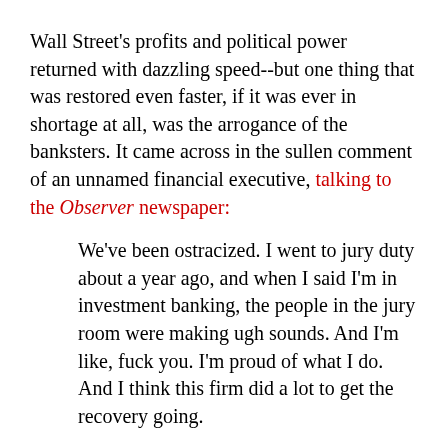Wall Street's profits and political power returned with dazzling speed--but one thing that was restored even faster, if it was ever in shortage at all, was the arrogance of the banksters. It came across in the sullen comment of an unnamed financial executive, talking to the Observer newspaper:
We've been ostracized. I went to jury duty about a year ago, and when I said I'm in investment banking, the people in the jury room were making ugh sounds. And I'm like, fuck you. I'm proud of what I do. And I think this firm did a lot to get the recovery going.
Proud? Really?
The banksters caused the catastrophic financial crisis of 2008 with their wild gambling with untold billions of dollars--betting literally on people losing their houses and livelihoods. That's money that could have